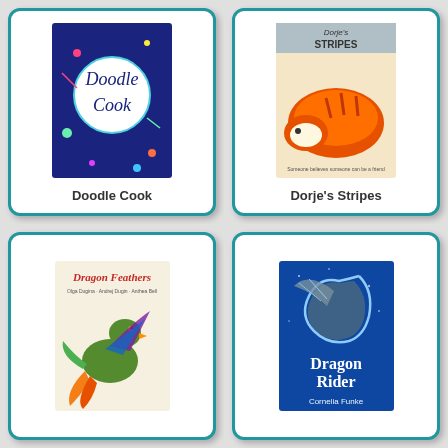[Figure (illustration): Book cover for 'Doodle Cook' - colorful hand-drawn style with bright colors on dark blue background, circular doodle design]
Doodle Cook
[Figure (illustration): Book cover for 'Dorje's Stripes' - watercolor painting of an orange tiger/big cat lying down]
Dorje's Stripes
[Figure (illustration): Book cover for 'Dragon Feathers' - illustration of ornate feathered dragon/bird on light beige background with red script title]
[Figure (illustration): Book cover for 'Dragon Rider' by Cornelia Funke - dark blue background with silver dragon illustration]